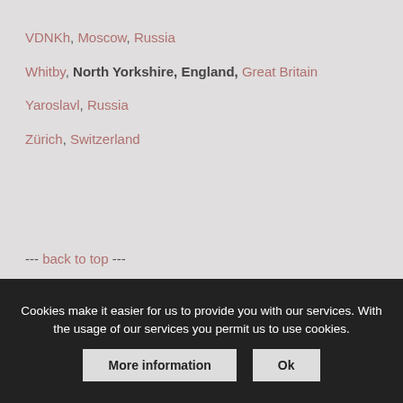VDNKh, Moscow, Russia
Whitby, North Yorkshire, England, Great Britain
Yaroslavl, Russia
Zürich, Switzerland
--- back to top ---
Cookies make it easier for us to provide you with our services. With the usage of our services you permit us to use cookies.
More information
Ok